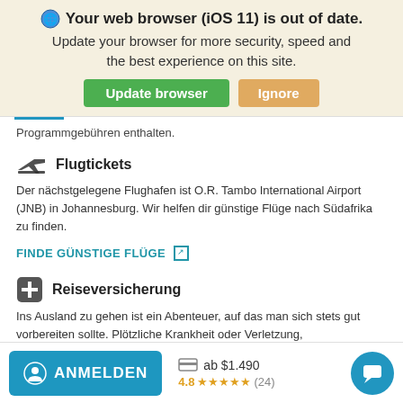Your web browser (iOS 11) is out of date.
Update your browser for more security, speed and the best experience on this site.
Programmgebühren enthalten.
Flugtickets
Der nächstgelegene Flughafen ist O.R. Tambo International Airport (JNB) in Johannesburg. Wir helfen dir günstige Flüge nach Südafrika zu finden.
FINDE GÜNSTIGE FLÜGE
Reiseversicherung
Ins Ausland zu gehen ist ein Abenteuer, auf das man sich stets gut vorbereiten sollte. Plötzliche Krankheit oder Verletzung,
ab $1.490
4.8 ★★★★★ (24)
ANMELDEN